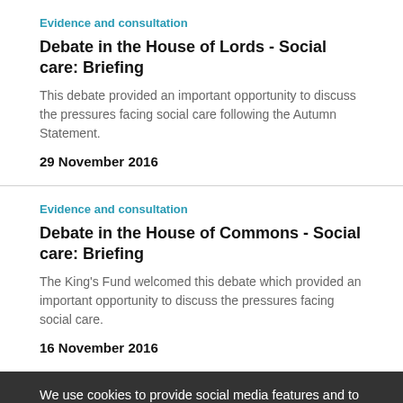Evidence and consultation
Debate in the House of Lords - Social care: Briefing
This debate provided an important opportunity to discuss the pressures facing social care following the Autumn Statement.
29 November 2016
Evidence and consultation
Debate in the House of Commons - Social care: Briefing
The King's Fund welcomed this debate which provided an important opportunity to discuss the pressures facing social care.
16 November 2016
We use cookies to provide social media features and to